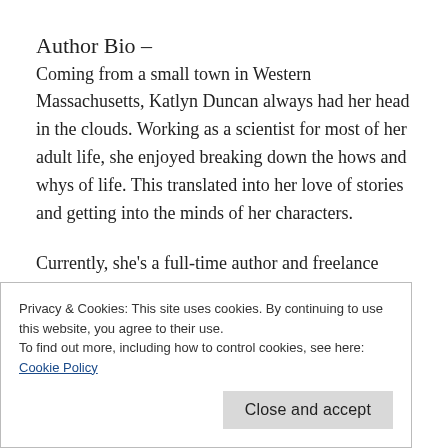Author Bio –
Coming from a small town in Western Massachusetts, Katlyn Duncan always had her head in the clouds. Working as a scientist for most of her adult life, she enjoyed breaking down the hows and whys of life. This translated into her love of stories and getting into the minds of her characters.
Currently, she's a full-time author and freelance writer. When she's not writing, she's obsessing over many (many) television series.
Privacy & Cookies: This site uses cookies. By continuing to use this website, you agree to their use.
To find out more, including how to control cookies, see here:
Cookie Policy
Close and accept